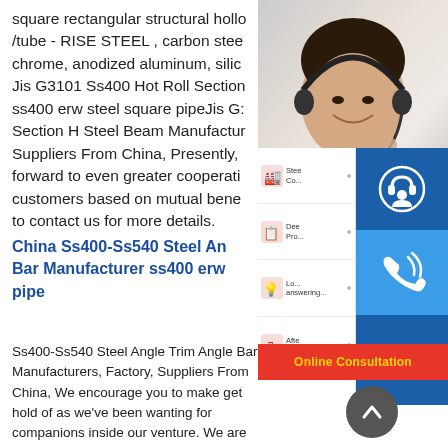square rectangular structural hollow /tube - RISE STEEL , carbon steel chrome, anodized aluminum, silico Jis G3101 Ss400 Hot Roll Section ss400 erw steel square pipeJis G3 Section H Steel Beam Manufactur Suppliers From China, Presently, forward to even greater cooperatio customers based on mutual bene to contact us for more details.
[Figure (photo): Customer service representative woman with headset smiling, with blue icon buttons for headset, phone, and Skype on the right side, and a service list panel, plus an Online Consultation red bar and scroll-up button]
China Ss400-Ss540 Steel An Bar Manufacturer ss400 erw pipe
Ss400-Ss540 Steel Angle Trim Angle Bar Manufacturers, Factory, Suppliers From China, We encourage you to make get hold of as we've been wanting for companions inside our venture. We are sure you'll uncover doing company with us not only fruitful but also profitable. We've been prepared to